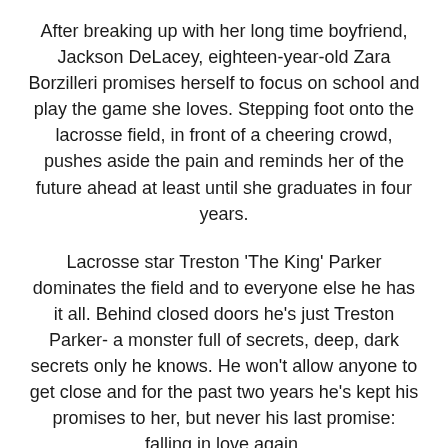After breaking up with her long time boyfriend, Jackson DeLacey, eighteen-year-old Zara Borzilleri promises herself to focus on school and play the game she loves. Stepping foot onto the lacrosse field, in front of a cheering crowd, pushes aside the pain and reminds her of the future ahead at least until she graduates in four years.
Lacrosse star Treston 'The King' Parker dominates the field and to everyone else he has it all. Behind closed doors he's just Treston Parker- a monster full of secrets, deep, dark secrets only he knows. He won't allow anyone to get close and for the past two years he's kept his promises to her, but never his last promise: falling in love again.
One weekend he gives in and everything changes when he meets Zara. The rules change and she sees Treston for who he truly is, not what everyone else sees. But to Treston, meeting Zara means nothing, even though her blue eyes invades his mind.
We can be friends, but don't ask about my past or where I